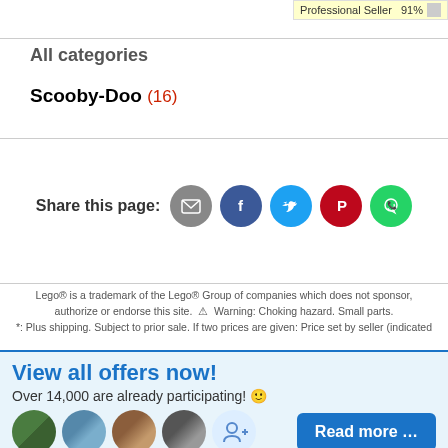Professional Seller 91%
All categories
Scooby-Doo (16)
[Figure (infographic): Share this page icons: email (gray), Facebook (blue), Twitter (light blue), Pinterest (red), WhatsApp (green)]
Lego® is a trademark of the Lego® Group of companies which does not sponsor, authorize or endorse this site. ⚠ Warning: Choking hazard. Small parts. *: Plus shipping. Subject to prior sale. If two prices are given: Price set by seller (indicated
View all offers now!
Over 14,000 are already participating! 🙂
[Figure (photo): Five circular avatar photos of people and an add-person icon]
Read more …